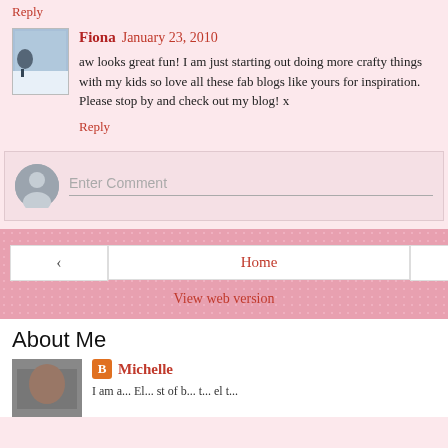Reply
Fiona  January 23, 2010
aw looks great fun! I am just starting out doing more crafty things with my kids so love all these fab blogs like yours for inspiration. Please stop by and check out my blog! x
Reply
[Figure (other): Comment input box with default user avatar and Enter Comment placeholder]
Home
View web version
About Me
Michelle
I am a...